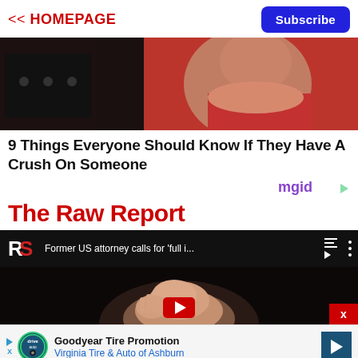<< HOMEPAGE | Subscribe
[Figure (photo): Close-up photo of a person in red clothing holding a small puppy, with a dark background]
9 Things Everyone Should Know If They Have A Crush On Someone
[Figure (logo): mgid logo with play arrow icon]
The Raw Report
[Figure (screenshot): YouTube video player showing 'Former US attorney calls for full i...' with RS logo, playlist and menu icons, and a woman speaking gesturing with hand]
[Figure (infographic): Advertisement banner: Goodyear Tire Promotion - Virginia Tire & Auto of Ashburn with logo and navigation arrow]